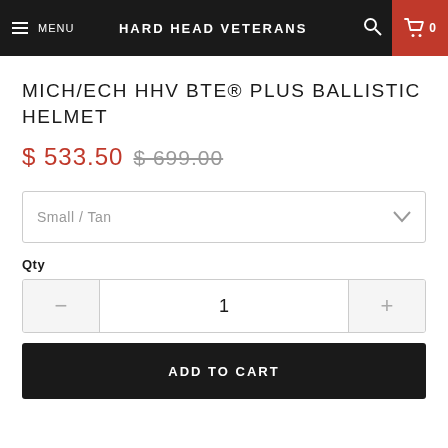MENU | HARD HEAD VETERANS | 0
MICH/ECH HHV BTE® PLUS BALLISTIC HELMET
$ 533.50  $ 699.00
Small / Tan
Qty
1
ADD TO CART